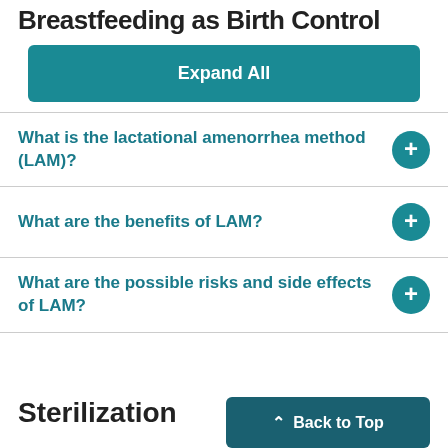Breastfeeding as Birth Control
Expand All
What is the lactational amenorrhea method (LAM)?
What are the benefits of LAM?
What are the possible risks and side effects of LAM?
Sterilization
Back to Top